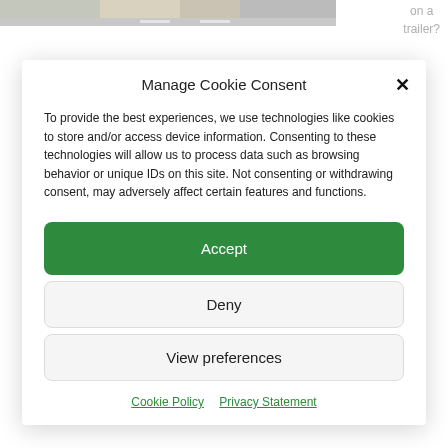[Figure (photo): Partial view of a truck/trailer on a road, partially visible at top of page behind the cookie consent dialog]
on a trailer?
Manage Cookie Consent
To provide the best experiences, we use technologies like cookies to store and/or access device information. Consenting to these technologies will allow us to process data such as browsing behavior or unique IDs on this site. Not consenting or withdrawing consent, may adversely affect certain features and functions.
Accept
Deny
View preferences
Cookie Policy   Privacy Statement